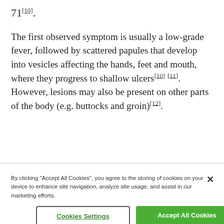71[10].
The first observed symptom is usually a low-grade fever, followed by scattered papules that develop into vesicles affecting the hands, feet and mouth, where they progress to shallow ulcers[10],[11]. However, lesions may also be present on other parts of the body (e.g. buttocks and groin)[12].
By clicking "Accept All Cookies", you agree to the storing of cookies on your device to enhance site navigation, analyze site usage, and assist in our marketing efforts.